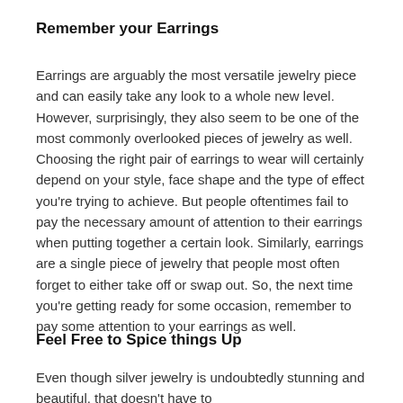Remember your Earrings
Earrings are arguably the most versatile jewelry piece and can easily take any look to a whole new level. However, surprisingly, they also seem to be one of the most commonly overlooked pieces of jewelry as well. Choosing the right pair of earrings to wear will certainly depend on your style, face shape and the type of effect you're trying to achieve. But people oftentimes fail to pay the necessary amount of attention to their earrings when putting together a certain look. Similarly, earrings are a single piece of jewelry that people most often forget to either take off or swap out. So, the next time you're getting ready for some occasion, remember to pay some attention to your earrings as well.
Feel Free to Spice things Up
Even though silver jewelry is undoubtedly stunning and beautiful, that doesn't have to